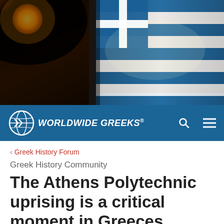[Figure (photo): Hero image of a Greek flag waving with a warm orange/red light source in the upper left corner against a dark background.]
Worldwide Greeks®
< Greek History Forum
Greek History Community
The Athens Polytechnic uprising is a critical moment in Greeces history